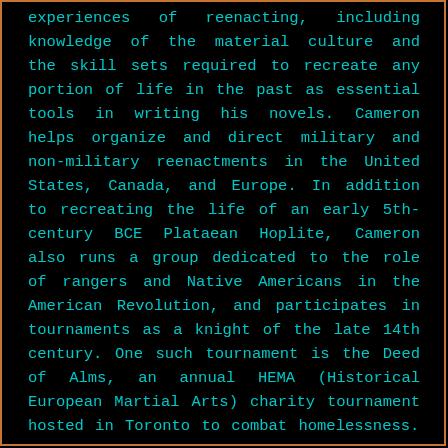experiences of reenacting, including knowledge of the material culture and the skill sets required to recreate any portion of life in the past as essential tools in writing his novels. Cameron helps organize and direct military and non-military reenactments in the United States, Canada, and Europe. In addition to recreating the life of an early 5th-century BCE Plataean Hoplite, Cameron also runs a group dedicated to the role of rangers and Native Americans in the American Revolution, and participates in tournaments as a knight of the late 14th century. One such tournament is the Deed of Alms, an annual HEMA (Historical European Martial Arts) charity tournament hosted in Toronto to combat homelessness.